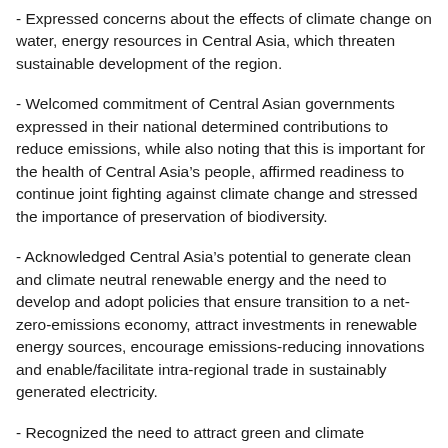- Expressed concerns about the effects of climate change on water, energy resources in Central Asia, which threaten sustainable development of the region.
- Welcomed commitment of Central Asian governments expressed in their national determined contributions to reduce emissions, while also noting that this is important for the health of Central Asia’s people, affirmed readiness to continue joint fighting against climate change and stressed the importance of preservation of biodiversity.
- Acknowledged Central Asia’s potential to generate clean and climate neutral renewable energy and the need to develop and adopt policies that ensure transition to a net-zero-emissions economy, attract investments in renewable energy sources, encourage emissions-reducing innovations and enable/facilitate intra-regional trade in sustainably generated electricity.
- Recognized the need to attract green and climate